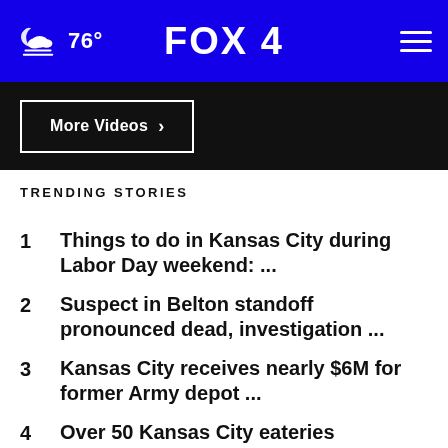FOX 4 — 76°
More Videos ›
TRENDING STORIES
1 Things to do in Kansas City during Labor Day weekend: ...
2 Suspect in Belton standoff pronounced dead, investigation ...
3 Kansas City receives nearly $6M for former Army depot ...
4 Over 50 Kansas City eateries participating in Black ...